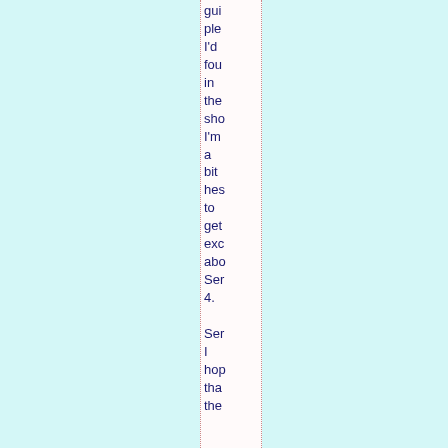gui ple I'd fou in the sho I'm a bit hes to get exc abo Ser 4. Ser I hop tha the